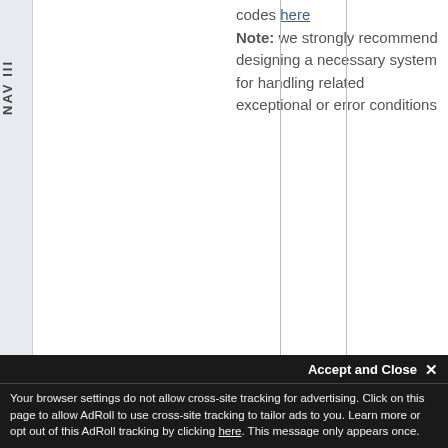NAV III
codes here
Note: we strongly recommend designing a necessary system for handling related exceptional or error conditions
| Field | Type | Description |
| --- | --- | --- |
| status_message | string | general informational message you can find |
Accept and Close ×
Your browser settings do not allow cross-site tracking for advertising. Click on this page to allow AdRoll to use cross-site tracking to tailor ads to you. Learn more or opt out of this AdRoll tracking by clicking here. This message only appears once.